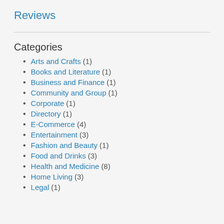Reviews
Categories
Arts and Crafts (1)
Books and Literature (1)
Business and Finance (1)
Community and Group (1)
Corporate (1)
Directory (1)
E-Commerce (4)
Entertainment (3)
Fashion and Beauty (1)
Food and Drinks (3)
Health and Medicine (8)
Home Living (3)
Legal (1)